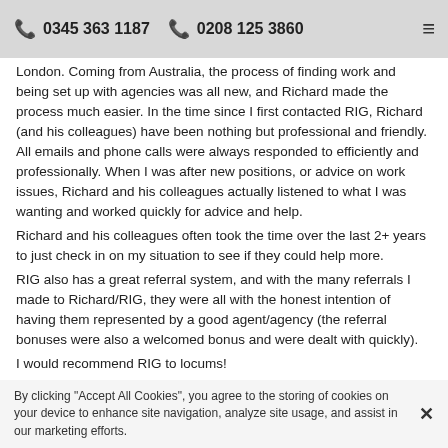0345 363 1187   0208 125 3860
London. Coming from Australia, the process of finding work and being set up with agencies was all new, and Richard made the process much easier. In the time since I first contacted RIG, Richard (and his colleagues) have been nothing but professional and friendly. All emails and phone calls were always responded to efficiently and professionally. When I was after new positions, or advice on work issues, Richard and his colleagues actually listened to what I was wanting and worked quickly for advice and help.
Richard and his colleagues often took the time over the last 2+ years to just check in on my situation to see if they could help more.
RIG also has a great referral system, and with the many referrals I made to Richard/RIG, they were all with the honest intention of having them represented by a good agent/agency (the referral bonuses were also a welcomed bonus and were dealt with quickly).
I would recommend RIG to locums!
By clicking “Accept All Cookies”, you agree to the storing of cookies on your device to enhance site navigation, analyze site usage, and assist in our marketing efforts.